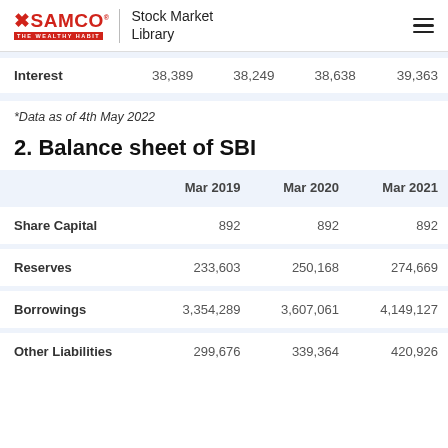SAMCO THE WEALTHY HABIT | Stock Market Library
|  | Mar 2019 (prev) | Mar 2020 (prev) | Mar 2021 (prev) | Mar 2022 (prev) |
| --- | --- | --- | --- | --- |
| Interest | 38,389 | 38,249 | 38,638 | 39,363 |
*Data as of 4th May 2022
2. Balance sheet of SBI
|  | Mar 2019 | Mar 2020 | Mar 2021 |
| --- | --- | --- | --- |
| Share Capital | 892 | 892 | 892 |
| Reserves | 233,603 | 250,168 | 274,669 |
| Borrowings | 3,354,289 | 3,607,061 | 4,149,127 |
| Other Liabilities | 299,676 | 339,364 | 420,926 |